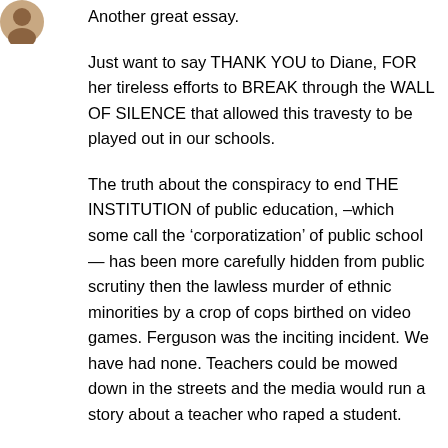[Figure (illustration): Small circular avatar icon in top-left corner]
Another great essay.
Just want to say THANK YOU to Diane, FOR her tireless efforts to BREAK through the WALL OF SILENCE that allowed this travesty to be played out in our schools.
The truth about the conspiracy to end THE INSTITUTION of public education, –which some call the ‘corporatization’ of public school — has been more carefully hidden from public scrutiny then the lawless murder of ethnic minorities by a crop of cops birthed on video games. Ferguson was the inciting incident. We have had none. Teachers could be mowed down in the streets and the media would run a story about a teacher who raped a student.